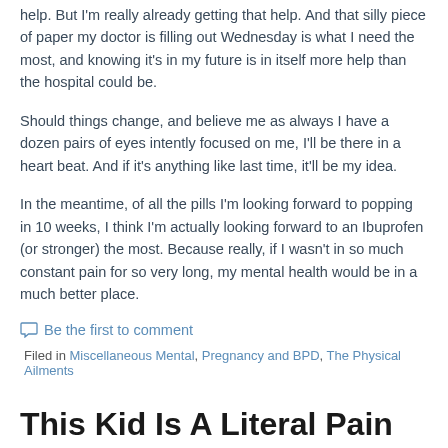help. But I'm really already getting that help. And that silly piece of paper my doctor is filling out Wednesday is what I need the most, and knowing it's in my future is in itself more help than the hospital could be.
Should things change, and believe me as always I have a dozen pairs of eyes intently focused on me, I'll be there in a heart beat. And if it's anything like last time, it'll be my idea.
In the meantime, of all the pills I'm looking forward to popping in 10 weeks, I think I'm actually looking forward to an Ibuprofen (or stronger) the most. Because really, if I wasn't in so much constant pain for so very long, my mental health would be in a much better place.
Be the first to comment
Filed in Miscellaneous Mental, Pregnancy and BPD, The Physical Ailments
This Kid Is A Literal Pain In My Ass
Posted June 21, 2011 By kmarrs